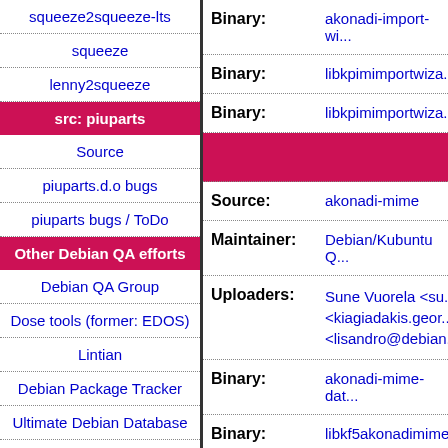squeeze2squeeze-lts
squeeze
lenny2squeeze
src: piuparts
Source
piuparts.d.o bugs
piuparts bugs / ToDo
Other Debian QA efforts
Debian QA Group
Dose tools (former: EDOS)
Lintian
Debian Package Tracker
Ultimate Debian Database
jenkins.debian.net
ci.debian.net
Binary: akonadi-import-wi...
Binary: libkpimimportwiza...
Binary: libkpimimportwiza...
(pink header bar)
Source: akonadi-mime
Maintainer: Debian/Kubuntu Q...
Uploaders: Sune Vuorela <su...  <kiagiadakis.geor...  <lisandro@debian...
Binary: akonadi-mime-dat...
Binary: libkf5akonadimime...
Binary: libkf5akonadimime...
(pink header bar bottom)